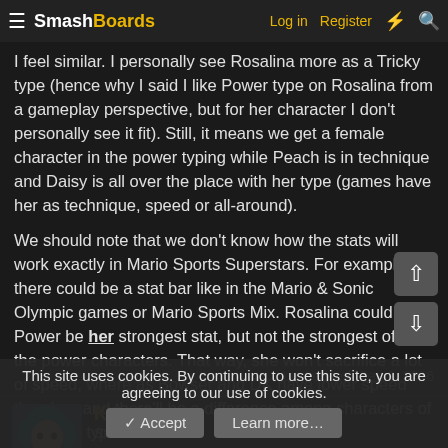SmashBoards — Log in  Register
I feel similar. I personally see Rosalina more as a Tricky type (hence why I said I like Power type on Rosalina from a gameplay perspective, but for her character I don't personally see it fit). Still, it means we get a female character in the power typing while Peach is in technique and Daisy is all over the place with her type (games have her as technique, speed or all-around).
We should note that we don't know how the stats will work exactly in Mario Sports Superstars. For example, there could be a stat bar like in the Mario & Sonic Olympic games or Mario Sports Mix. Rosalina could have Power be her strongest stat, but not the strongest of all the power characters. That way, she won't sacrifice a lot of speed, where as Bowser and DK have lower speed than her, and there'll be a difference among characters of the same type.
Last edited: Sep 2, 2016
Killo89
Smash Ace
This site uses cookies. By continuing to use this site, you are agreeing to our use of cookies.
✓ Accept    Learn more…